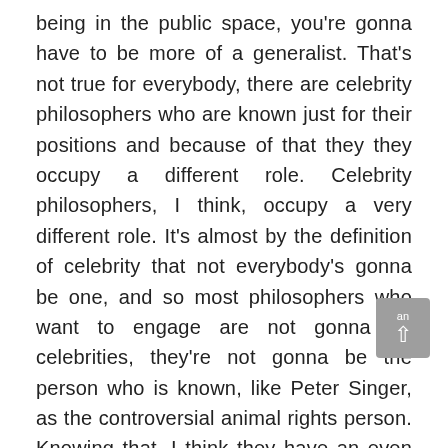being in the public space, you're gonna have to be more of a generalist. That's not true for everybody, there are celebrity philosophers who are known just for their positions and because of that they they occupy a different role. Celebrity philosophers, I think, occupy a very different role. It's almost by the definition of celebrity that not everybody's gonna be one, and so most philosophers who want to engage are not gonna be celebrities, they're not gonna be the person who is known, like Peter Singer, as the controversial animal rights person. Knowing that, I think they have an even better role to play as a facilitator of people who want to think through particular ideas in a public space. It's also natural to the way that we think. One of the ways I like to think about doing philosophy